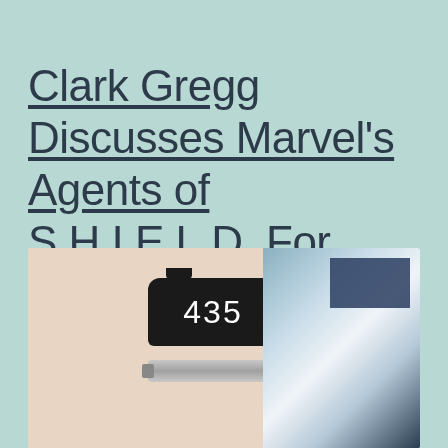Clark Gregg Discusses Marvel's Agents of S.H.I.E.L.D. For Season 2
[Figure (photo): Photo of a hotel or office room door showing room number 435 on a black placard, with a silver door handle bar below it. A window with dark blue blinds is visible in the background right.]